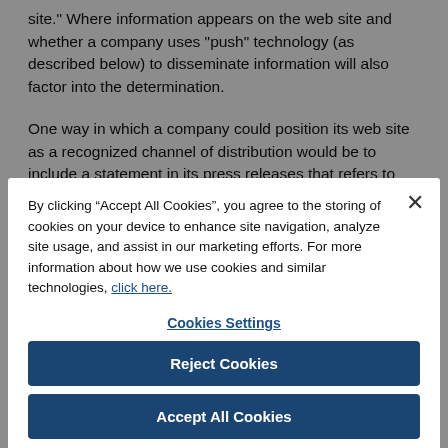site." Where information appears on the web site and whether a company uses "push" technology (as described below) to disseminate information will also factor into the determination.
One way in which a company could position its web site as a recognized channel of distribution would be to include a statement in its press releases that refers to the company web site as a source of important information. An example could be:
By clicking “Accept All Cookies”, you agree to the storing of cookies on your device to enhance site navigation, analyze site usage, and assist in our marketing efforts. For more information about how we use cookies and similar technologies, click here.
Cookies Settings
Reject Cookies
Accept All Cookies